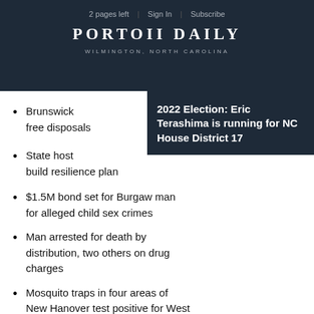2 pages left | Sign In | Subscribe
PORTOII DAILY
WILMINGTON, NORTH CAROLINA
[Figure (other): Tooltip overlay: '2022 Election: Eric Terashima is running for NC House District 17']
Brunswick [obscured] free disposals [obscured]
State host[s obscured] build resilience plan
$1.5M bond set for Burgaw man for alleged child sex crimes
Man arrested for death by distribution, two others on drug charges
Mosquito traps in four areas of New Hanover test positive for West